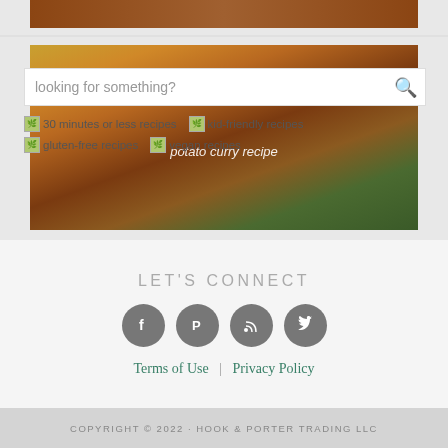[Figure (photo): Food photo showing potato curry dish with brown and green colors]
looking for something?
[Figure (illustration): 30 minutes or less recipes icon/image]
[Figure (illustration): kid-friendly recipes icon/image]
[Figure (illustration): gluten-free recipes icon/image]
[Figure (illustration): vegan recipes icon/image]
LET'S CONNECT
[Figure (illustration): Social media icons: Facebook, Pinterest, RSS, Twitter]
Terms of Use | Privacy Policy
COPYRIGHT © 2022 · HOOK & PORTER TRADING LLC